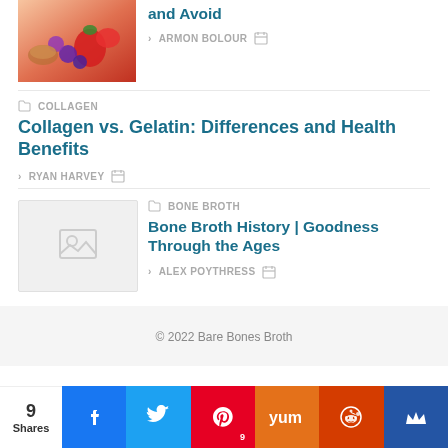[Figure (photo): Thumbnail of berries and fruit on a platter]
and Avoid
> ARMON BOLOUR [calendar icon]
[folder icon] COLLAGEN
Collagen vs. Gelatin: Differences and Health Benefits
> RYAN HARVEY [calendar icon]
[Figure (photo): Placeholder image thumbnail for Bone Broth article]
[folder icon] BONE BROTH
Bone Broth History | Goodness Through the Ages
> ALEX POYTHRESS [calendar icon]
© 2022 Bare Bones Broth
9 Shares [Facebook] [Twitter] [Pinterest 9] [Yummly] [Reddit] [Crown]